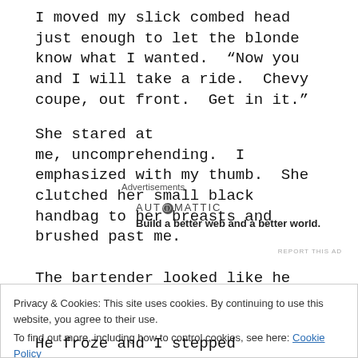I moved my slick combed head just enough to let the blonde know what I wanted.  “Now you and I will take a ride.  Chevy coupe, out front.  Get in it.”
She stared at me, uncomprehending.  I emphasized with my thumb.  She clutched her small black handbag to her breasts and brushed past me.
Advertisements
[Figure (infographic): Automattic advertisement: logo text 'AUTⓄMATTIC' and tagline 'Build a better web and a better world.']
REPORT THIS AD
The bartender looked like he was trying to decide
Privacy & Cookies: This site uses cookies. By continuing to use this website, you agree to their use.
To find out more, including how to control cookies, see here: Cookie Policy
Close and accept
He froze and I stepped away, keeping the pistol in